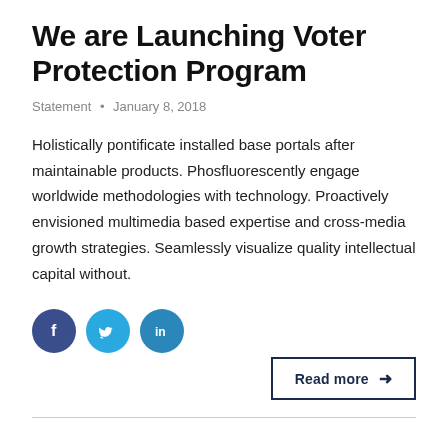We are Launching Voter Protection Program
Statement • January 8, 2018
Holistically pontificate installed base portals after maintainable products. Phosfluorescently engage worldwide methodologies with technology. Proactively envisioned multimedia based expertise and cross-media growth strategies. Seamlessly visualize quality intellectual capital without.
[Figure (illustration): Three social media sharing icons: Facebook (dark blue circle with 'f'), Twitter (light blue circle with bird), LinkedIn (medium blue circle with 'in')]
Read more →